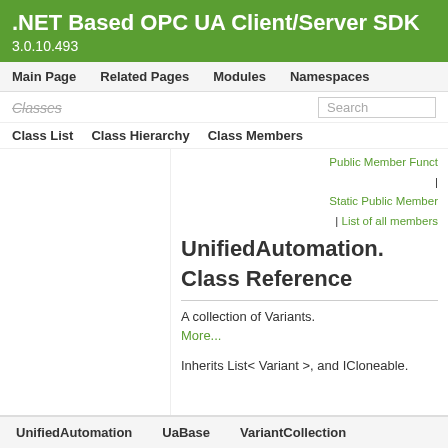.NET Based OPC UA Client/Server SDK 3.0.10.493
Main Page   Related Pages   Modules   Namespaces
Classes   Search
Class List   Class Hierarchy   Class Members
Public Member Functions | Static Public Member | List of all members
UnifiedAutomation. Class Reference
A collection of Variants. More...
Inherits List< Variant >, and ICloneable.
UnifiedAutomation   UaBase   VariantCollection